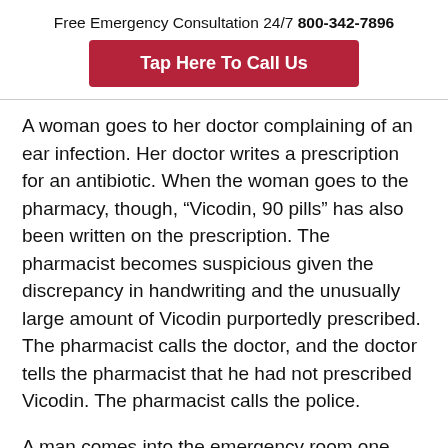Free Emergency Consultation 24/7 800-342-7896
Tap Here To Call Us
A woman goes to her doctor complaining of an ear infection. Her doctor writes a prescription for an antibiotic. When the woman goes to the pharmacy, though, “Vicodin, 90 pills” has also been written on the prescription. The pharmacist becomes suspicious given the discrepancy in handwriting and the unusually large amount of Vicodin purportedly prescribed. The pharmacist calls the doctor, and the doctor tells the pharmacist that he had not prescribed Vicodin. The pharmacist calls the police.
A man comes into the emergency room one